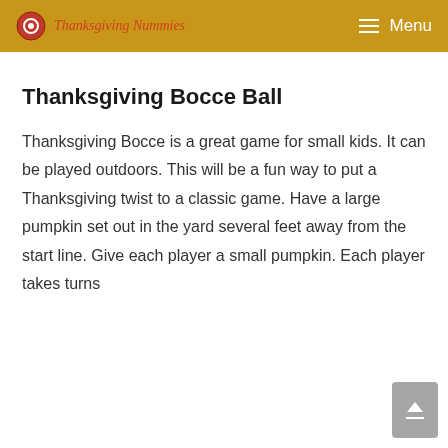Thanksgiving Nummies — Menu
Thanksgiving Bocce Ball
Thanksgiving Bocce is a great game for small kids. It can be played outdoors. This will be a fun way to put a Thanksgiving twist to a classic game. Have a large pumpkin set out in the yard several feet away from the start line. Give each player a small pumpkin. Each player takes turns rolling their pumpkin to try to get the closest to the large pumpkin.